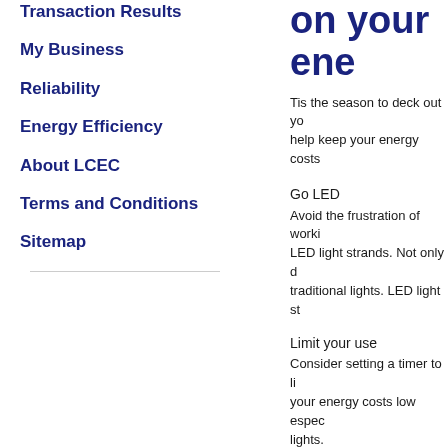Transaction Results
My Business
Reliability
Energy Efficiency
About LCEC
Terms and Conditions
Sitemap
on your ene
Tis the season to deck out yo... help keep your energy costs...
Go LED
Avoid the frustration of worki... LED light strands. Not only d... traditional lights. LED light st...
Limit your use
Consider setting a timer to li... your energy costs low espec... lights.
Go reflective
Who says you need actual li... wonders to “borrow” some sh... and wreaths can make your ... bill!